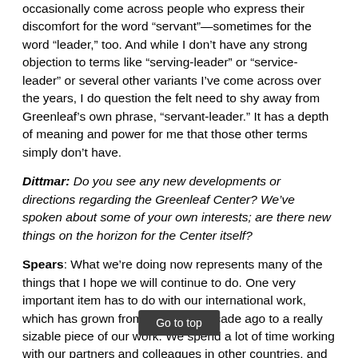occasionally come across people who express their discomfort for the word “servant”—sometimes for the word “leader,” too. And while I don’t have any strong objection to terms like “serving-leader” or “service-leader” or several other variants I’ve come across over the years, I do question the felt need to shy away from Greenleaf’s own phrase, “servant-leader.” It has a depth of meaning and power for me that those other terms simply don’t have.
Dittmar: Do you see any new developments or directions regarding the Greenleaf Center? We’ve spoken about some of your own interests; are there new things on the horizon for the Center itself?
Spears: What we’re doing now represents many of the things that I hope we will continue to do. One very important item has to do with our international work, which has grown from nothing a decade ago to a really sizable piece of our work. We spend a lot of time working with our partners and colleagues in other countries, and there are now eleven international Greenleaf Center offices around the world. The creation of translated materials—servant-leader essays, some of the books, other materials--is ta[king off and] is adding greatly to the growth of international interest, we are told in The...